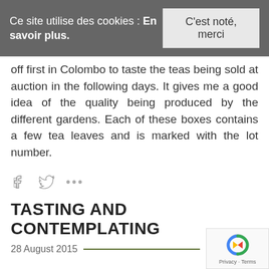Ce site utilise des cookies : En savoir plus.
C'est noté, merci
off first in Colombo to taste the teas being sold at auction in the following days. It gives me a good idea of the quality being produced by the different gardens. Each of these boxes contains a few tea leaves and is marked with the lot number.
[Figure (other): Social sharing icons: Facebook, Twitter, and more options (dots)]
TASTING AND CONTEMPLATING
28 August 2015